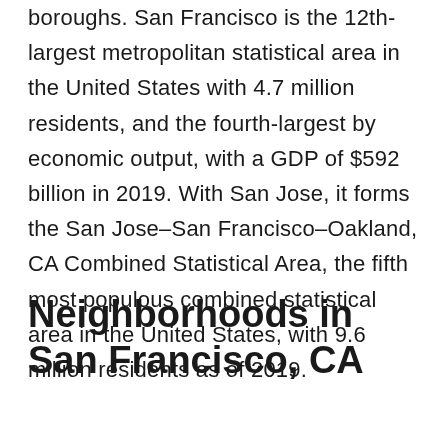boroughs. San Francisco is the 12th-largest metropolitan statistical area in the United States with 4.7 million residents, and the fourth-largest by economic output, with a GDP of $592 billion in 2019. With San Jose, it forms the San Jose–San Francisco–Oakland, CA Combined Statistical Area, the fifth most populous combined statistical area in the United States, with 9.6 million residents as of 2019.
Neighborhoods in San Francisco, CA